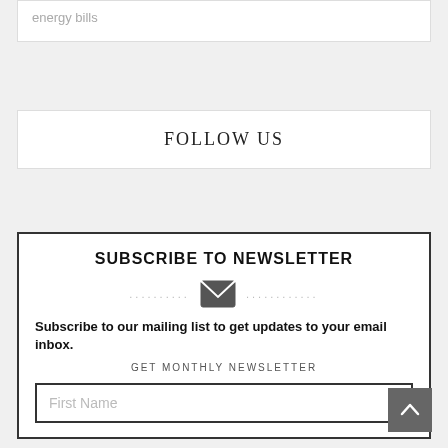energy bills
FOLLOW US
SUBSCRIBE TO NEWSLETTER
[Figure (illustration): Envelope icon with dotted lines on either side]
Subscribe to our mailing list to get updates to your email inbox.
GET MONTHLY NEWSLETTER
First Name